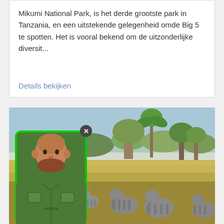Mikumi National Park, is het derde grootste park in Tanzania, en een uitstekende gelegenheid omde Big 5 te spotten. Het is vooral bekend om de uitzonderlijke diversit...
Details bekijken
[Figure (photo): Safari landscape photo showing a herd of elephants walking through dry savanna grassland with trees in the background, overlaid with a portrait photo of a bald man with a beard wearing a green safari/Africa vest, the portrait has a green border and an X close button]